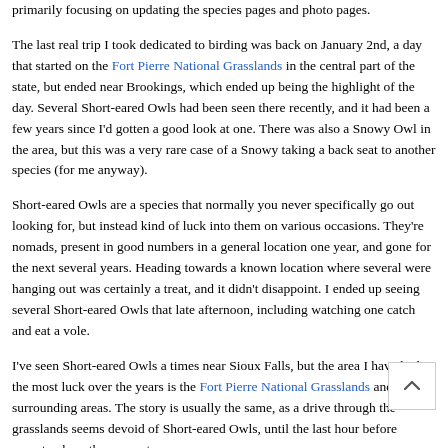primarily focusing on updating the species pages and photo pages.
The last real trip I took dedicated to birding was back on January 2nd, a day that started on the Fort Pierre National Grasslands in the central part of the state, but ended near Brookings, which ended up being the highlight of the day. Several Short-eared Owls had been seen there recently, and it had been a few years since I'd gotten a good look at one. There was also a Snowy Owl in the area, but this was a very rare case of a Snowy taking a back seat to another species (for me anyway).
Short-eared Owls are a species that normally you never specifically go out looking for, but instead kind of luck into them on various occasions. They're nomads, present in good numbers in a general location one year, and gone for the next several years. Heading towards a known location where several were hanging out was certainly a treat, and it didn't disappoint. I ended up seeing several Short-eared Owls that late afternoon, including watching one catch and eat a vole.
I've seen Short-eared Owls a times near Sioux Falls, but the area I have had the most luck over the years is the Fort Pierre National Grasslands and surrounding areas. The story is usually the same, as a drive through the grasslands seems devoid of Short-eared Owls, until the last hour before sunset, where they seem to